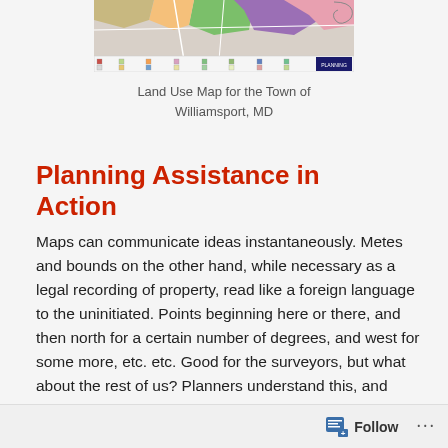[Figure (map): Land use map for the Town of Williamsport, MD showing colored regions for different land uses with a legend at the bottom]
Land Use Map for the Town of Williamsport, MD
Planning Assistance in Action
Maps can communicate ideas instantaneously. Metes and bounds on the other hand, while necessary as a legal recording of property, read like a foreign language to the uninitiated. Points beginning here or there, and then north for a certain number of degrees, and west for some more, etc. etc. Good for the surveyors, but what about the rest of us? Planners understand this, and
Follow ···